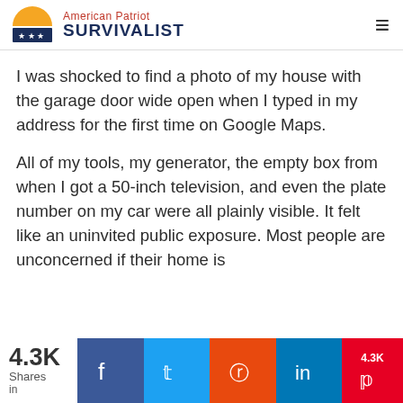American Patriot SURVIVALIST
I was shocked to find a photo of my house with the garage door wide open when I typed in my address for the first time on Google Maps.
All of my tools, my generator, the empty box from when I got a 50-inch television, and even the plate number on my car were all plainly visible. It felt like an uninvited public exposure. Most people are unconcerned if their home is
4.3K Shares in | Facebook | Twitter | Reddit | LinkedIn | 4.3K Pinterest